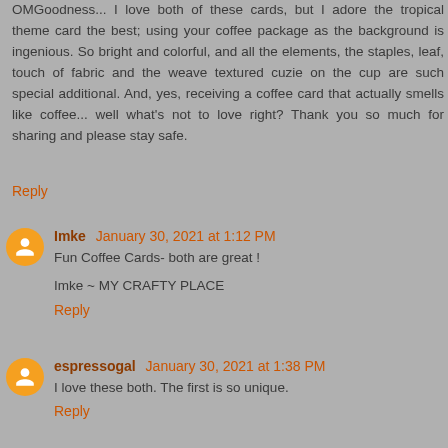OMGoodness... I love both of these cards, but I adore the tropical theme card the best; using your coffee package as the background is ingenious. So bright and colorful, and all the elements, the staples, leaf, touch of fabric and the weave textured cuzie on the cup are such special additional. And, yes, receiving a coffee card that actually smells like coffee... well what's not to love right? Thank you so much for sharing and please stay safe.
Reply
Imke  January 30, 2021 at 1:12 PM
Fun Coffee Cards- both are great !

Imke ~ MY CRAFTY PLACE
Reply
espressogal  January 30, 2021 at 1:38 PM
I love these both. The first is so unique.
Reply